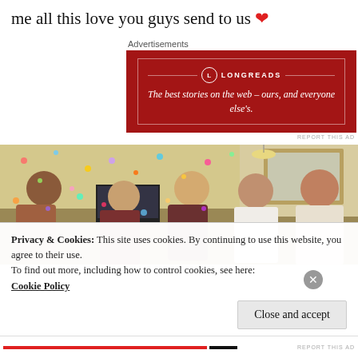me all this love you guys send to us ❤
Advertisements
[Figure (other): Longreads advertisement banner: dark red background with Longreads logo and text 'The best stories on the web – ours, and everyone else's.']
[Figure (photo): Group of people in a living room celebrating with confetti, clapping and smiling.]
Privacy & Cookies: This site uses cookies. By continuing to use this website, you agree to their use.
To find out more, including how to control cookies, see here:
Cookie Policy
Close and accept